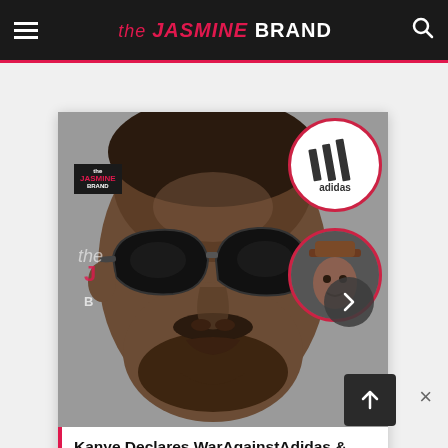the JASMINE BRAND
[Figure (photo): Article card showing Kanye West wearing large black sunglasses on the left, Adidas logo circle top-right, a person in a hat circle bottom-right, with a navigation arrow overlay and the Jasmine Brand logo watermark]
Kanye Declares WarAgainstAdidas & SVPDaniel Cherry,Accuses Company Of ...